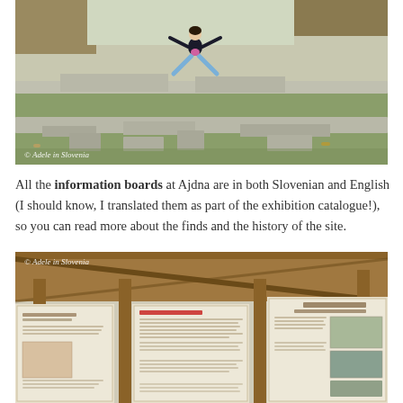[Figure (photo): A person jumping with arms and legs spread wide, standing on ancient stone ruins at Ajdna archaeological site. Stone walls and green grass visible. Watermark: © Adele in Slovenia.]
All the information boards at Ajdna are in both Slovenian and English (I should know, I translated them as part of the exhibition catalogue!), so you can read more about the finds and the history of the site.
[Figure (photo): A covered wooden shelter housing information boards/display panels at Ajdna. Boards show text and images about the settlement. Watermark: © Adele in Slovenia.]